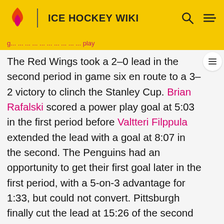ICE HOCKEY WIKI
The Red Wings took a 2–0 lead in the second period in game six en route to a 3–2 victory to clinch the Stanley Cup. Brian Rafalski scored a power play goal at 5:03 in the first period before Valtteri Filppula extended the lead with a goal at 8:07 in the second. The Penguins had an opportunity to get their first goal later in the first period, with a 5-on-3 advantage for 1:33, but could not convert. Pittsburgh finally cut the lead at 15:26 of the second period with Evgeni Malkin's power play goal. However, a third period shot by Detroit's Henrik Zetterberg squeezed through the legs of Pittsburgh goaltender Marc-Andre Fleury, who, after noticing he was not covering the puck, fell backwards and accidentally knocked the puck across